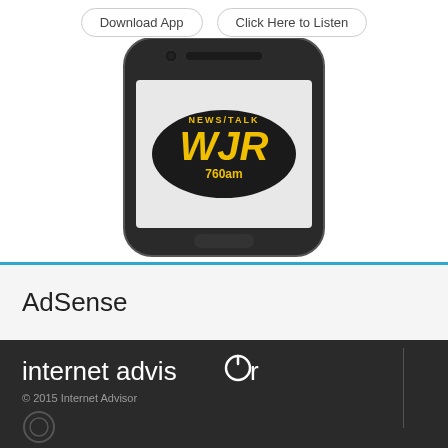[Figure (screenshot): Mobile app download buttons: 'Download App' and 'Click Here to Listen', with a smartphone displaying WJR 760am News/Talk radio logo on its screen]
AdSense
[Figure (logo): internet advisor logo with power button symbol replacing the 'o' in advisor]
© 2015 Internet Advisor